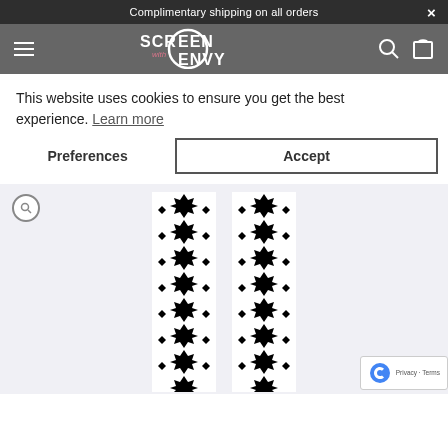Complimentary shipping on all orders
[Figure (logo): Screen with Envy logo with circular design element, white text on gray background]
This website uses cookies to ensure you get the best experience. Learn more
Preferences  Accept
[Figure (photo): Two decorative black geometric lattice/screen panels with star and floral Islamic-style patterns on white background]